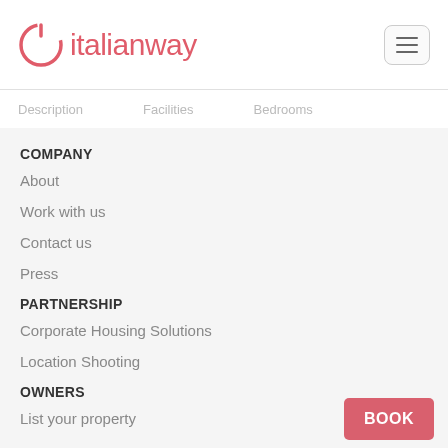[Figure (logo): Italianway logo with circular power-button icon in salmon/red color and text 'italianway']
Description   Facilities   Bedrooms
COMPANY
About
Work with us
Contact us
Press
PARTNERSHIP
Corporate Housing Solutions
Location Shooting
OWNERS
List your property